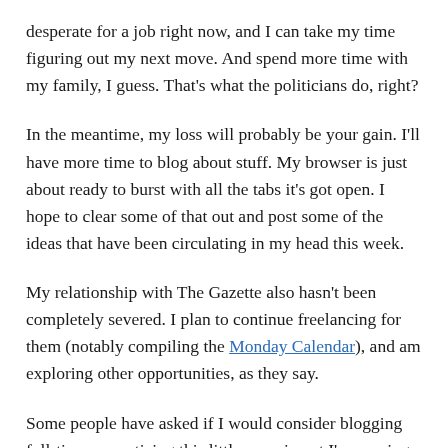desperate for a job right now, and I can take my time figuring out my next move. And spend more time with my family, I guess. That's what the politicians do, right?
In the meantime, my loss will probably be your gain. I'll have more time to blog about stuff. My browser is just about ready to burst with all the tabs it's got open. I hope to clear some of that out and post some of the ideas that have been circulating in my head this week.
My relationship with The Gazette also hasn't been completely severed. I plan to continue freelancing for them (notably compiling the Monday Calendar), and am exploring other opportunities, as they say.
Some people have asked if I would consider blogging full-time, monetizing this little experiment I'm running. I'd do it in a second if I thought it could be profitable, but I don't think that's feasible yet. I may change my mind on that depending